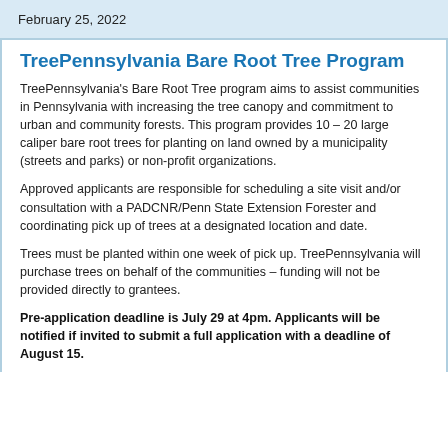February 25, 2022
TreePennsylvania Bare Root Tree Program
TreePennsylvania's Bare Root Tree program aims to assist communities in Pennsylvania with increasing the tree canopy and commitment to urban and community forests.  This program provides 10 – 20 large caliper bare root trees for planting on land owned by a municipality (streets and parks) or non-profit organizations.
Approved applicants are responsible for scheduling a site visit and/or consultation with a PADCNR/Penn State Extension Forester and coordinating pick up of trees at a designated location and date.
Trees must be planted within one week of pick up. TreePennsylvania will purchase trees on behalf of the communities – funding will not be provided directly to grantees.
Pre-application deadline is July 29 at 4pm. Applicants will be notified if invited to submit a full application with a deadline of August 15.